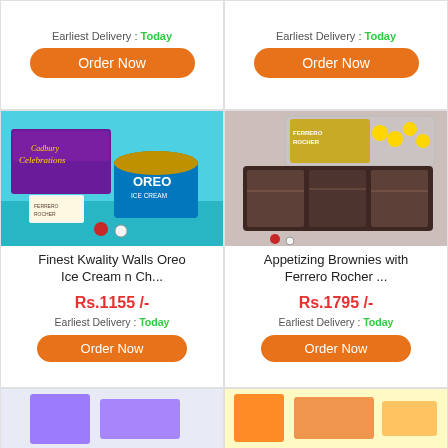Earliest Delivery : Today
Order Now
Earliest Delivery : Today
Order Now
[Figure (photo): Kwality Walls Oreo ice cream tub with Cadbury Celebrations box and Ferrero Rocher chocolates on blue background with rakhi accessories]
Finest Kwality Walls Oreo Ice Cream n Ch...
Rs.1155 /-
Earliest Delivery : Today
Order Now
[Figure (photo): Ferrero Rocher chocolate box and dark chocolate brownie slab box on wooden surface with rakhi accessories]
Appetizing Brownies with Ferrero Rocher ...
Rs.1795 /-
Earliest Delivery : Today
Order Now
[Figure (photo): Partially visible product image at bottom left]
[Figure (photo): Partially visible product image at bottom right]